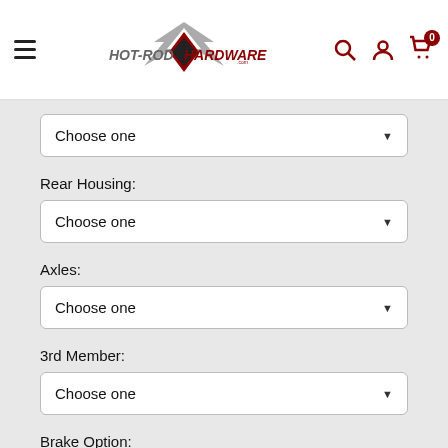Hot Rod Hardware - navigation header with logo, search, account, and cart icons
Choose one (dropdown)
Rear Housing:
Choose one (dropdown)
Axles:
Choose one (dropdown)
3rd Member:
Choose one (dropdown)
Brake Option:
Ch... (dropdown, partially visible)